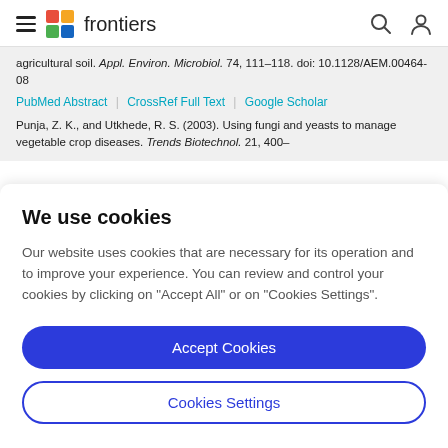frontiers
agricultural soil. Appl. Environ. Microbiol. 74, 111–118. doi: 10.1128/AEM.00464-08
PubMed Abstract | CrossRef Full Text | Google Scholar
Punja, Z. K., and Utkhede, R. S. (2003). Using fungi and yeasts to manage vegetable crop diseases. Trends Biotechnol. 21, 400–
We use cookies
Our website uses cookies that are necessary for its operation and to improve your experience. You can review and control your cookies by clicking on "Accept All" or on "Cookies Settings".
Accept Cookies
Cookies Settings